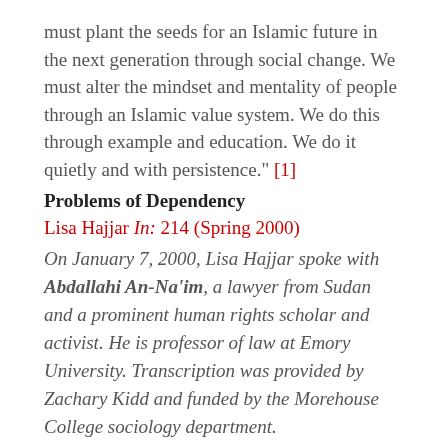must plant the seeds for an Islamic future in the next generation through social change. We must alter the mindset and mentality of people through an Islamic value system. We do this through example and education. We do it quietly and with persistence." [1]
Problems of Dependency
Lisa Hajjar In: 214 (Spring 2000)
On January 7, 2000, Lisa Hajjar spoke with Abdallahi An-Na'im, a lawyer from Sudan and a prominent human rights scholar and activist. He is professor of law at Emory University. Transcription was provided by Zachary Kidd and funded by the Morehouse College sociology department.
Can you highlight some of the factors that